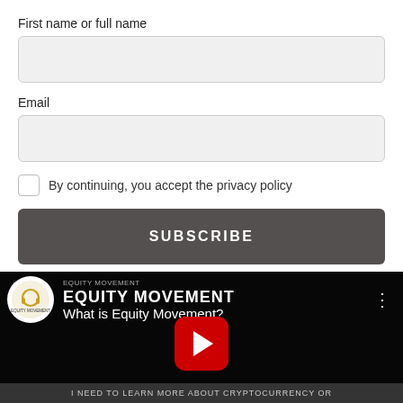First name or full name
Email
By continuing, you accept the privacy policy
SUBSCRIBE
[Figure (screenshot): YouTube video thumbnail for 'What is Equity Movement?' by the Equity Movement channel, showing two people in a dark scene with a red YouTube play button in the center. Bottom bar reads 'I NEED TO LEARN MORE ABOUT CRYPTOCURRENCY OR'.]